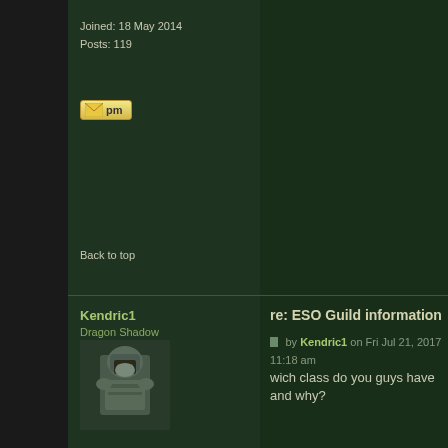Joined: 18 May 2014
Posts: 119
[Figure (other): PM button with envelope icon]
Back to top
Kendric1
Dragon Shadow
[Figure (photo): Avatar of armored warrior character]
re: ESO Guild information
by Kendric1 on Fri Jul 21, 2017 11:18 am
wich class do you guys have and why?
Joined: 18 May 2014
Posts: 119
[Figure (other): PM button with envelope icon]
Back to top